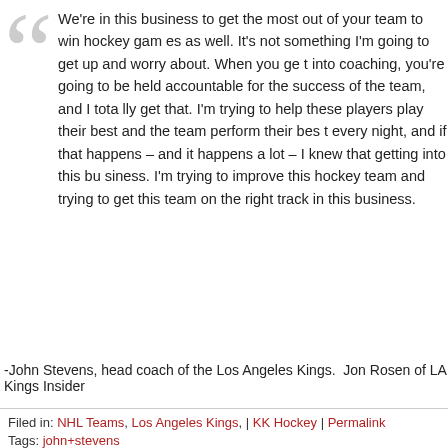We're in this business to get the most out of your team to win hockey games as well. It's not something I'm going to get up and worry about. When you get into coaching, you're going to be held accountable for the success of the team, and I totally get that. I'm trying to help these players play their best and the team perform their best every night, and if that happens – and it happens a lot – I knew that getting into this business. I'm trying to improve this hockey team and trying to get this team on the right track in this business.
-John Stevens, head coach of the Los Angeles Kings. Jon Rosen of LA Kings Insider
Filed in: NHL Teams, Los Angeles Kings, | KK Hockey | Permalink
Tags: john+stevens